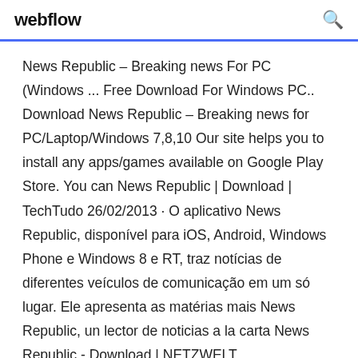webflow
News Republic – Breaking news For PC (Windows ... Free Download For Windows PC.. Download News Republic – Breaking news for PC/Laptop/Windows 7,8,10 Our site helps you to install any apps/games available on Google Play Store. You can News Republic | Download | TechTudo 26/02/2013 · O aplicativo News Republic, disponível para iOS, Android, Windows Phone e Windows 8 e RT, traz notícias de diferentes veículos de comunicação em um só lugar. Ele apresenta as matérias mais News Republic, un lector de noticias a la carta News Republic - Download | NETZWELT